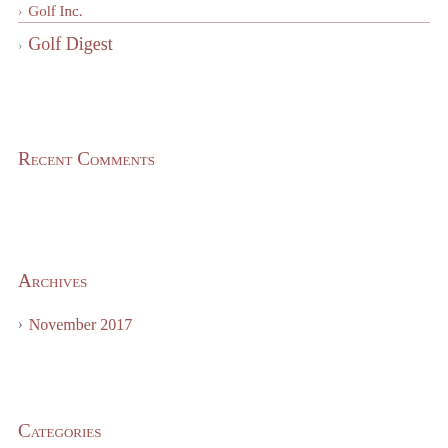Golf Inc.
Golf Digest
Recent Comments
Archives
November 2017
Categories